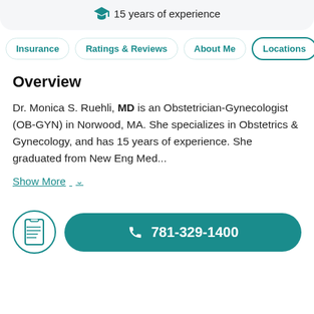🎓 15 years of experience
Insurance
Ratings & Reviews
About Me
Locations
Overview
Dr. Monica S. Ruehli, MD is an Obstetrician-Gynecologist (OB-GYN) in Norwood, MA. She specializes in Obstetrics & Gynecology, and has 15 years of experience. She graduated from New Eng Med...
Show More
781-329-1400